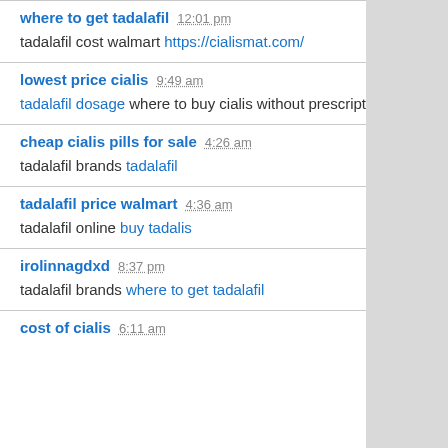where to get tadalafil 12:01 pm Reply
tadalafil cost walmart https://cialismat.com/
lowest price cialis 9:49 am Reply
tadalafil dosage where to buy cialis without prescription
cheap cialis pills for sale 4:26 am Reply
tadalafil brands tadalafil
tadalafil price walmart 4:36 am Reply
tadalafil online buy tadalis
irolinnagdxd 8:37 pm Reply
tadalafil brands where to get tadalafil
cost of cialis 6:11 am Reply